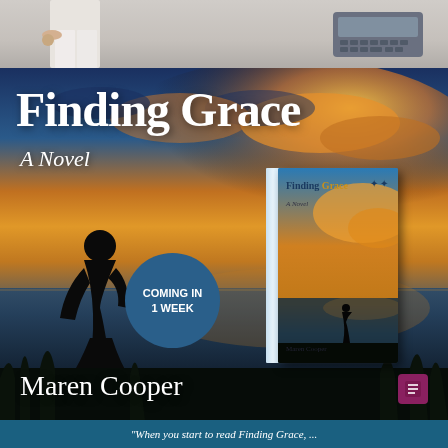[Figure (photo): Top partial photo strip showing a person in white pants and a keyboard/phone device on the right side]
[Figure (illustration): Book promotional image for 'Finding Grace: A Novel' by Maren Cooper. Shows a sunset/sunrise over water with silhouette of woman in foreground, book cover displayed with badge reading 'COMING IN 1 WEEK']
Finding Grace
A Novel
COMING IN 1 WEEK
Maren Cooper
"When you start to read Finding Grace, ..."